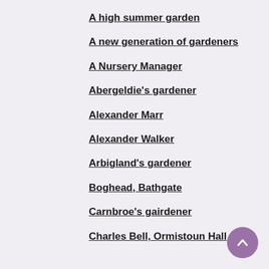A high summer garden
A new generation of gardeners
A Nursery Manager
Abergeldie's gardener
Alexander Marr
Alexander Walker
Arbigland's gardener
Boghead, Bathgate
Carnbroe's gairdener
Charles Bell, Ormistoun Hall